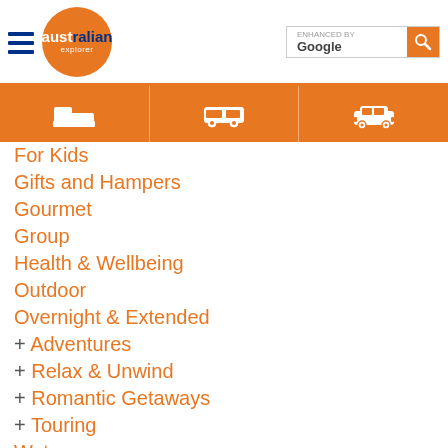[Figure (logo): Australian Explorer website header with hamburger menu, orange circle logo with 'australian explorer' text, and Google search bar]
[Figure (infographic): Orange navigation bar with three white icons: bed/accommodation icon, van/transport icon, and car/transport icon]
For Kids
Gifts and Hampers
Gourmet
Group
Health & Wellbeing
Outdoor
Overnight & Extended
+ Adventures
+ Relax & Unwind
+ Romantic Getaways
+ Touring
Water
Experiences by Price
Under $100
Under $250
Under $500
Under $1000
Over $1000